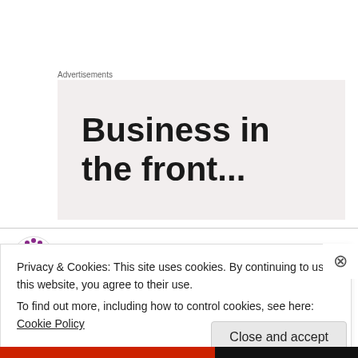Advertisements
[Figure (other): Advertisement banner with text 'Business in the front...' on a light beige/pink background]
Laurie on June 8, 2012 at 1:43 pm
Dia, this was an amazing read!
I've had these sorts of help or hinder
Privacy & Cookies: This site uses cookies. By continuing to use this website, you agree to their use.
To find out more, including how to control cookies, see here: Cookie Policy